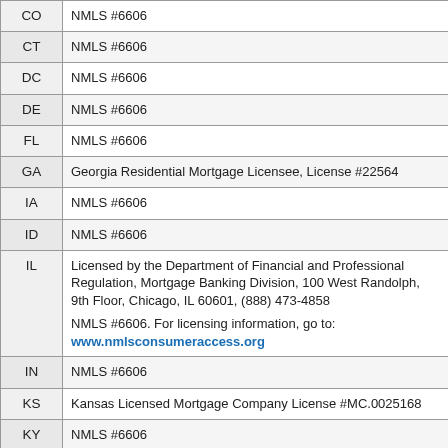| State | License Info |
| --- | --- |
| CO | NMLS #6606 |
| CT | NMLS #6606 |
| DC | NMLS #6606 |
| DE | NMLS #6606 |
| FL | NMLS #6606 |
| GA | Georgia Residential Mortgage Licensee, License #22564 |
| IA | NMLS #6606 |
| ID | NMLS #6606 |
| IL | Licensed by the Department of Financial and Professional Regulation, Mortgage Banking Division, 100 West Randolph, 9th Floor, Chicago, IL 60601, (888) 473-4858

NMLS #6606. For licensing information, go to: www.nmlsconsumeraccess.org |
| IN | NMLS #6606 |
| KS | Kansas Licensed Mortgage Company License #MC.0025168 |
| KY | NMLS #6606 |
| LA | NMLS #6606 |